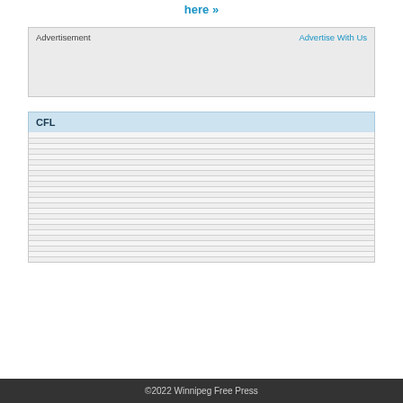here »
[Figure (other): Advertisement box with 'Advertisement' label on left and 'Advertise With Us' link on right, light gray background]
CFL
©2022 Winnipeg Free Press